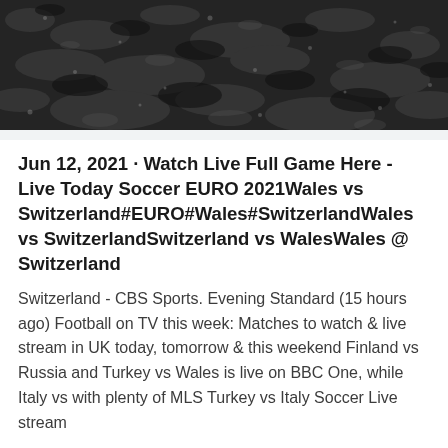[Figure (photo): Dark rocky or gravelly ground surface texture, black and white/grayscale photograph viewed from above]
Jun 12, 2021 · Watch Live Full Game Here - Live Today Soccer EURO 2021Wales vs Switzerland#EURO#Wales#SwitzerlandWales vs SwitzerlandSwitzerland vs WalesWales @ Switzerland
Switzerland - CBS Sports. Evening Standard (15 hours ago) Football on TV this week: Matches to watch & live stream in UK today, tomorrow & this weekend Finland vs Russia and Turkey vs Wales is live on BBC One, while Italy vs with plenty of MLS Turkey vs Italy Soccer Live stream